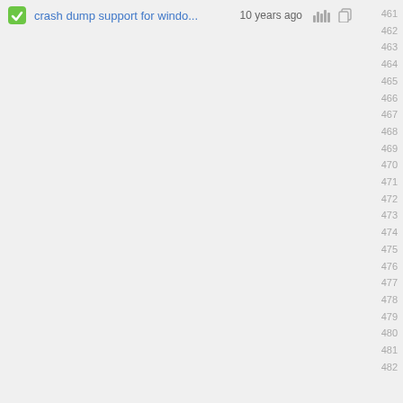crash dump support for windo...  10 years ago  [history icon]  461
462 463 464 465 466 467 468 469 470 471 472 473 474 475 476 477 478 479 480 481 482